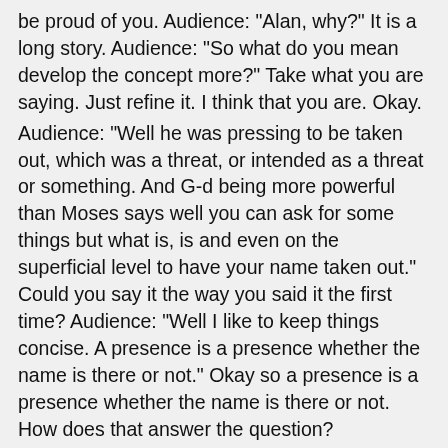be proud of you. Audience: "Alan, why?" It is a long story. Audience: "So what do you mean develop the concept more?" Take what you are saying. Just refine it. I think that you are. Okay.
Audience: "Well he was pressing to be taken out, which was a threat, or intended as a threat or something. And G-d being more powerful than Moses says well you can ask for some things but what is, is and even on the superficial level to have your name taken out." Could you say it the way you said it the first time? Audience: "Well I like to keep things concise. A presence is a presence whether the name is there or not." Okay so a presence is a presence whether the name is there or not. How does that answer the question?
It is true a presence is the presence. We are just coming up with these beautiful thoughts. I happen to think it is magnificent though. Audience: "What you get out of the fact that his name was not mentioned. I mean he was there, even though he was not mentioned." That he was there in a very